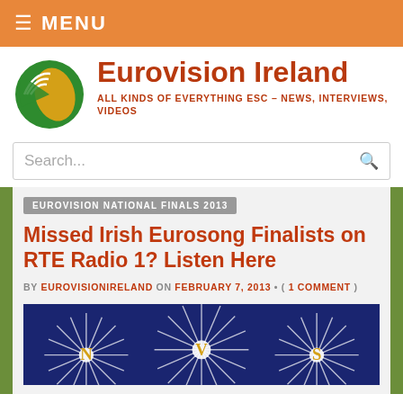≡ MENU
Eurovision Ireland
ALL KINDS OF EVERYTHING ESC – NEWS, INTERVIEWS, VIDEOS
Search...
EUROVISION NATIONAL FINALS 2013
Missed Irish Eurosong Finalists on RTE Radio 1? Listen Here
BY EUROVISIONIRELAND ON FEBRUARY 7, 2013 • ( 1 COMMENT )
[Figure (photo): Blue background with starburst/sparkle design and gold letters N, V, S visible — Eurovision Ireland blog article image]